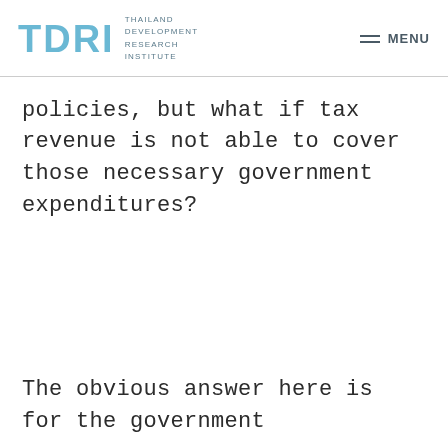TDRI THAILAND DEVELOPMENT RESEARCH INSTITUTE | MENU
policies, but what if tax revenue is not able to cover those necessary government expenditures?
The obvious answer here is for the government